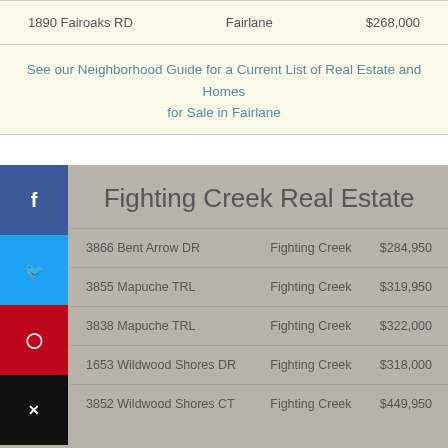| Address | Neighborhood | Price |
| --- | --- | --- |
| 1890 Fairoaks RD | Fairlane | $268,000 |
See our Neighborhood Guide for a Current List of Real Estate and Homes for Sale in Fairlane
Fighting Creek Real Estate
| Address | Neighborhood | Price |
| --- | --- | --- |
| 3866 Bent Arrow DR | Fighting Creek | $284,950 |
| 3855 Mapuche TRL | Fighting Creek | $319,950 |
| 3838 Mapuche TRL | Fighting Creek | $322,000 |
| 1653 Wildwood Shores DR | Fighting Creek | $318,000 |
| 3852 Wildwood Shores CT | Fighting Creek | $449,950 |